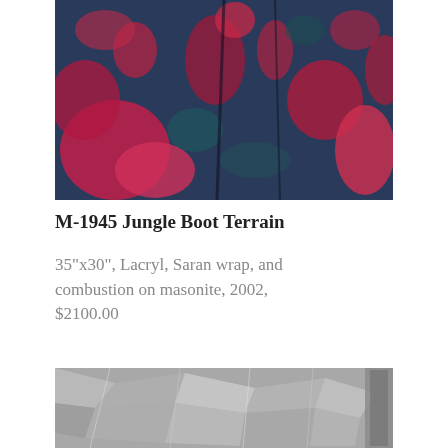[Figure (photo): Abstract artwork showing textured surface with vivid red/magenta and dark teal/blue tones, appearing like terrain or geological surface. The piece is M-1945 Jungle Boot Terrain.]
M-1945 Jungle Boot Terrain
35"x30", Lacryl, Saran wrap, and combustion on masonite, 2002, $2100.00
[Figure (photo): Abstract artwork showing a crinkled metallic silver/grey textured surface, possibly Saran wrap or foil on masonite, partially framed with a grey border visible on right side.]